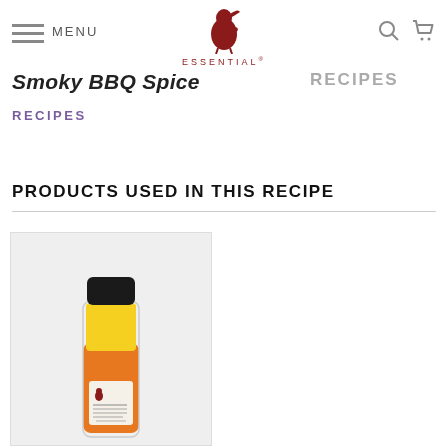MENU | ESSENTIAL | (search icon) (cart icon)
Smoky BBQ Spice
RECIPES
RECIPES
PRODUCTS USED IN THIS RECIPE
[Figure (photo): A small bottle of Essential brand oil/sauce with a black cap, yellow liquid visible inside, orange and white label, photographed against a light grey background.]